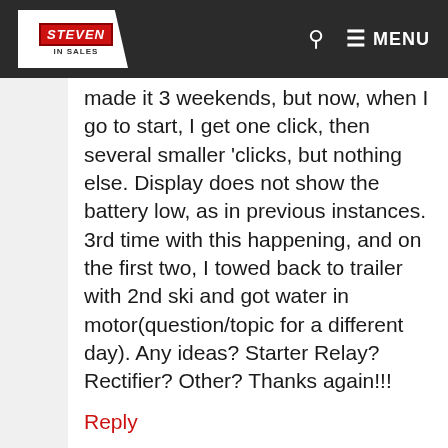Steven In Sales — MENU
made it 3 weekends, but now, when I go to start, I get one click, then several smaller 'clicks, but nothing else. Display does not show the battery low, as in previous instances. 3rd time with this happening, and on the first two, I towed back to trailer with 2nd ski and got water in motor(question/topic for a different day). Any ideas? Starter Relay? Rectifier? Other? Thanks again!!!
Reply